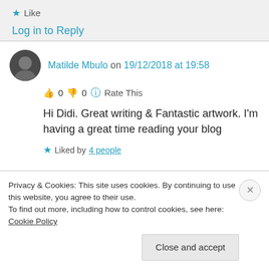★ Like
Log in to Reply
Matilde Mbulo on 19/12/2018 at 19:58
👍 0 👎 0 ℹ Rate This
Hi Didi. Great writing & Fantastic artwork. I'm having a great time reading your blog
★ Liked by 4 people
Privacy & Cookies: This site uses cookies. By continuing to use this website, you agree to their use.
To find out more, including how to control cookies, see here: Cookie Policy
Close and accept